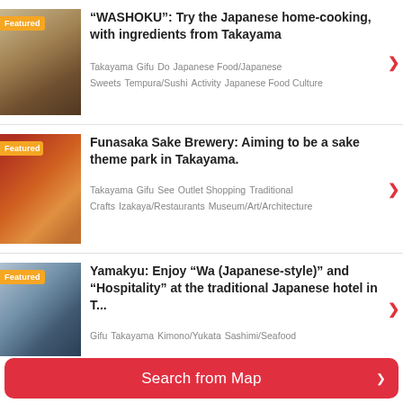[Figure (photo): Featured: Japanese food presentation on dark plate with garnishes]
“WASHOKU”: Try the Japanese home-cooking, with ingredients from Takayama
Takayama  Gifu  Do  Japanese Food/Japanese Sweets  Tempura/Sushi  Activity  Japanese Food Culture
[Figure (photo): Featured: Funasaka Sake Brewery with colorful sake bottles and figures]
Funasaka Sake Brewery: Aiming to be a sake theme park in Takayama.
Takayama  Gifu  See  Outlet Shopping  Traditional Crafts  Izakaya/Restaurants  Museum/Art/Architecture
[Figure (photo): Featured: Traditional Japanese hotel exterior with snow and stone lanterns]
Yamakyu: Enjoy "Wa (Japanese-style)" and "Hospitality" at the traditional Japanese hotel in T...
Gifu  Takayama  Kimono/Yukata  Sashimi/Seafood
Search from Map